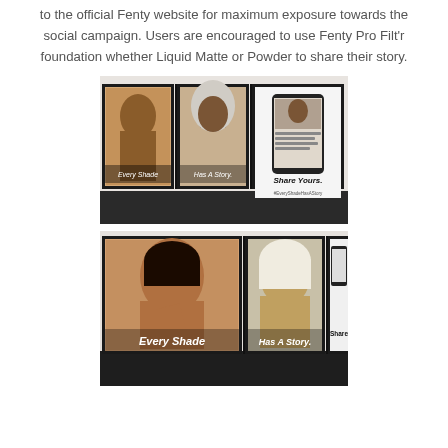to the official Fenty website for maximum exposure towards the social campaign. Users are encouraged to use Fenty Pro Filt'r foundation whether Liquid Matte or Powder to share their story.
[Figure (photo): Subway station advertisement display showing three framed posters side by side: first poster shows a dark-skinned woman with text 'Every Shade', second shows a woman wearing a hijab with text 'Has A Story.', third shows a smartphone mockup with a social media post and text 'Share Yours.']
[Figure (photo): Subway station advertisement display showing three framed posters: first large poster shows a light brown-skinned woman looking up with text 'Every Shade', second shows a woman with platinum hair and text 'Has A Story.', third partially visible shows a smartphone and 'Share' text.]